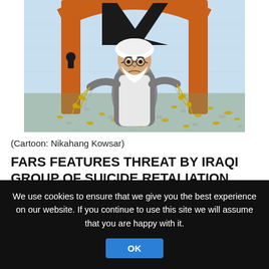[Figure (illustration): Political cartoon by Nikahang Kowsar showing a cleric in white turban and grey robe surrounded by a flood of keys, holding chains of keys near a large padlock door frame with a lightning bolt shape at the top.]
(Cartoon: Nikahang Kowsar)
FARS FEATURES THREAT BY IRAQI GROUP OF SUICIDE RETALIATION FOR US INTERVENTION IN SYRIA
We use cookies to ensure that we give you the best experience on our website. If you continue to use this site we will assume that you are happy with it.